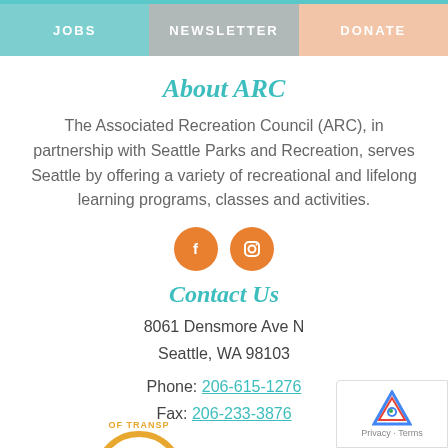JOBS | NEWSLETTER | DONATE
About ARC
The Associated Recreation Council (ARC), in partnership with Seattle Parks and Recreation, serves Seattle by offering a variety of recreational and lifelong learning programs, classes and activities.
[Figure (illustration): Two orange circular social media icons: Facebook (f) and Instagram (camera)]
Contact Us
8061 Densmore Ave N
Seattle, WA 98103
Phone: 206-615-1276
Fax: 206-233-3876
[Figure (logo): Partial circular transparency/seal badge visible at bottom center]